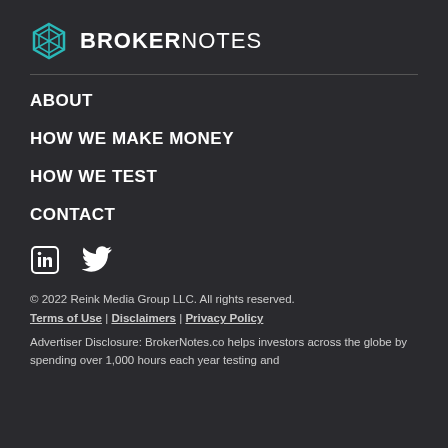[Figure (logo): BrokerNotes logo with teal hexagon icon and bold white text BROKERNOTES]
ABOUT
HOW WE MAKE MONEY
HOW WE TEST
CONTACT
[Figure (illustration): LinkedIn and Twitter social media icons]
© 2022 Reink Media Group LLC. All rights reserved. Terms of Use | Disclaimers | Privacy Policy
Advertiser Disclosure: BrokerNotes.co helps investors across the globe by spending over 1,000 hours each year testing and